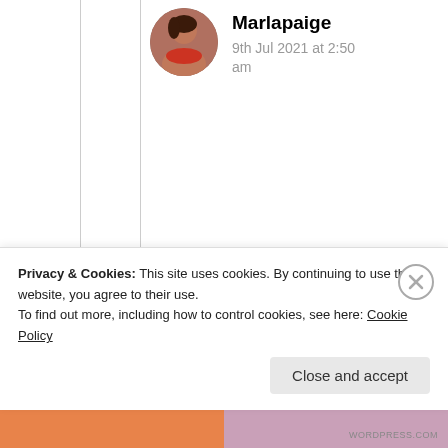Marlapaige
9th Jul 2021 at 2:50 am
Prince, I would typically not respond to a comment like this, but this is for your benefit. Please slow your typing down and check your spelling. That is a typo,
Privacy & Cookies: This site uses cookies. By continuing to use this website, you agree to their use.
To find out more, including how to control cookies, see here: Cookie Policy
Close and accept